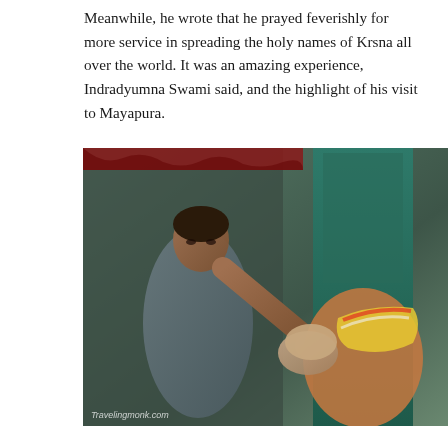Meanwhile, he wrote that he prayed feverishly for more service in spreading the holy names of Krsna all over the world. It was an amazing experience, Indradyumna Swami said, and the highlight of his visit to Mayapura.
[Figure (photo): A man placing his hand on the head of another person who is bowing, in what appears to be a religious blessing ceremony. The person bowing wears a flower garland. Watermark reads 'Travelingmonk.com'.]
Continuing in his meditation on Lord Caitanya Mahaprabhu, Indradyumna Swami quoted from a beautiful bhajan about fixing the mind of Mahaprabhu just a few days prior to this ecstatic experience.
so rasa-jaladhi mājhe maṇi-geha
tahiṁ rahu gori suṣyāmera deha